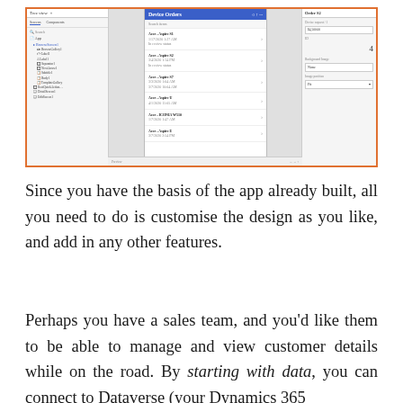[Figure (screenshot): A screenshot of a Power Apps interface showing a canvas app with a left navigation panel, a center mobile phone preview displaying 'Device Orders' list with multiple items and dates, and a right properties panel.]
Since you have the basis of the app already built, all you need to do is customise the design as you like, and add in any other features.
Perhaps you have a sales team, and you'd like them to be able to manage and view customer details while on the road. By starting with data, you can connect to Dataverse (your Dynamics 365